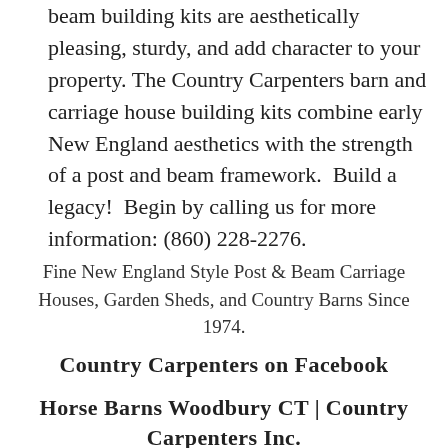beam building kits are aesthetically pleasing, sturdy, and add character to your property. The Country Carpenters barn and carriage house building kits combine early New England aesthetics with the strength of a post and beam framework.  Build a legacy!  Begin by calling us for more information: (860) 228-2276.
Fine New England Style Post & Beam Carriage Houses, Garden Sheds, and Country Barns Since 1974.
Country Carpenters on Facebook
Horse Barns Woodbury CT | Country Carpenters Inc.